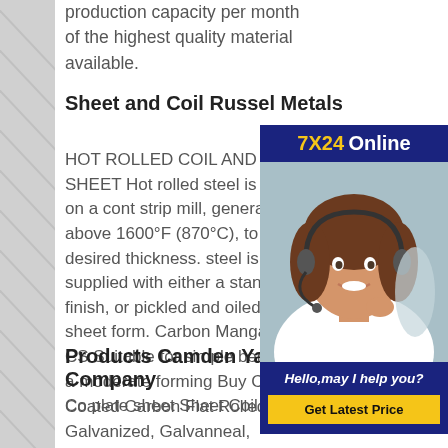production capacity per month of the highest quality material available.
Sheet and Coil Russel Metals
[Figure (photo): Customer service representative wearing a headset, smiling, with a '7X24 Online' banner and 'Hello, may I help you?' text and 'Get Latest Price' button on a dark blue background.]
HOT ROLLED COIL AND SHEET Hot rolled steel is rolled on a continuous strip mill, generally above 1600°F (870°C), to the desired thickness. The steel is supplied with either a standard black finish, or pickled and oiled, in coil or sheet form. Carbon Manganese Steel CS Suitable for simple bending and moderate forming Buy Coated Coil Steel plate sheet Sheet Coil Steel
Products Camden Yards Steel Company
Coated Carbon Flat Rolled Steel. TYPES Galvanized, Galvanneal,